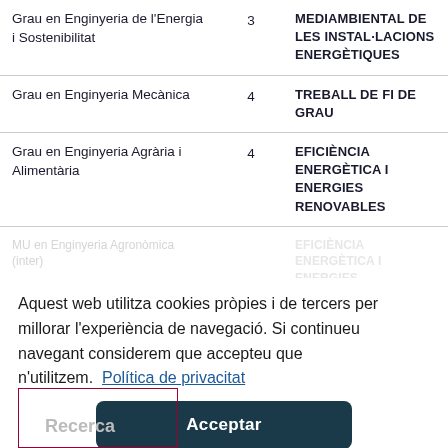| Grau/MU | Curs | Assignatura |
| --- | --- | --- |
| Grau en Enginyeria de l'Energia i Sostenibilitat | 3 | MEDIAMBIENTAL DE LES INSTAL·LACIONS ENERGÈTIQUES |
| Grau en Enginyeria Mecànica | 4 | TREBALL DE FI DE GRAU |
| Grau en Enginyeria Agrària i Alimentària | 4 | EFICIÈNCIA ENERGÈTICA I ENERGIES RENOVABLES |
| MU en Enginyeria Agronòmica (inter) | ... | EFICIÈNCIA ... ENERGIES RENOVABLES |
Aquest web utilitza cookies pròpies i de tercers per millorar l'experiència de navegació. Si continueu navegant considerem que accepteu que n'utilitzem.  Política de privacitat
Acceptar
Recerca